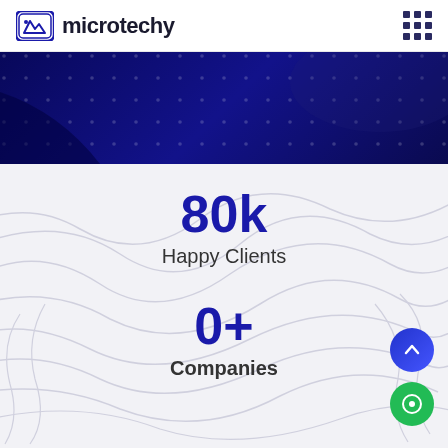microtechy
[Figure (illustration): Dark navy blue decorative banner with dot/circle pattern overlay and diagonal geometric shapes]
80k
Happy Clients
0+
Companies